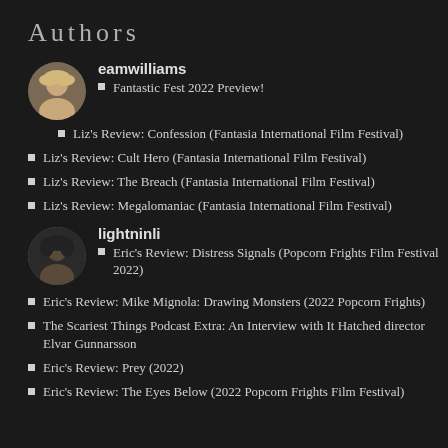Authors
[Figure (photo): Circular avatar photo of eamwilliams, a woman with blonde hair]
eamwilliams
Fantastic Fest 2022 Preview!
Liz's Review: Confession (Fantasia International Film Festival)
Liz's Review: Cult Hero (Fantasia International Film Festival)
Liz's Review: The Breach (Fantasia International Film Festival)
Liz's Review: Megalomaniac (Fantasia International Film Festival)
[Figure (photo): Circular avatar photo of lightninli, a person with dark hair]
lightninli
Eric's Review: Distress Signals (Popcorn Frights Film Festival 2022)
Eric's Review: Mike Mignola: Drawing Monsters (2022 Popcorn Frights)
The Scariest Things Podcast Extra: An Interview with It Hatched director Elvar Gunnarsson
Eric's Review: Prey (2022)
Eric's Review: The Eyes Below (2022 Popcorn Frights Film Festival)